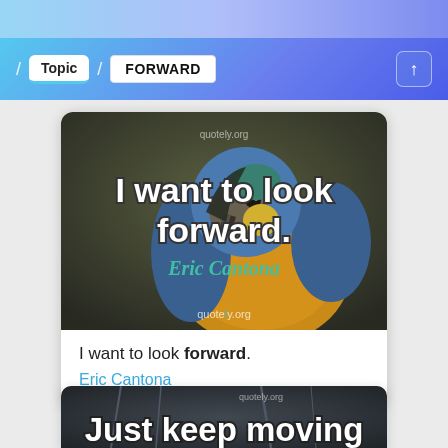/ Topic / FORWARD
[Figure (photo): Quote image card showing a blue and yellow macaw parrot on a dark background with large white outlined text 'I want to look forward.' and author name 'Eric Cantona' in teal italic. Watermark reads quotely.org.]
I want to look forward.
Eric Cantona
[Figure (photo): Partially visible second quote card at the bottom showing a dark city/street background with large text beginning 'Just keep moving']